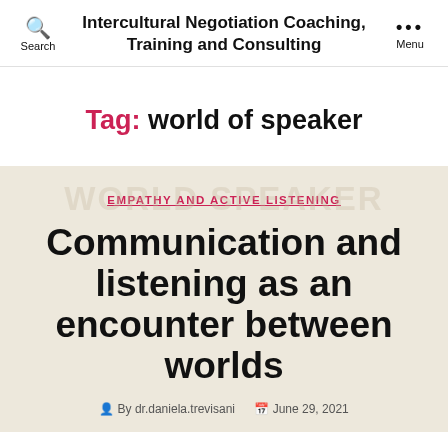Intercultural Negotiation Coaching, Training and Consulting
Tag: world of speaker
EMPATHY AND ACTIVE LISTENING
Communication and listening as an encounter between worlds
By dr.daniela.trevisani · June 29, 2021